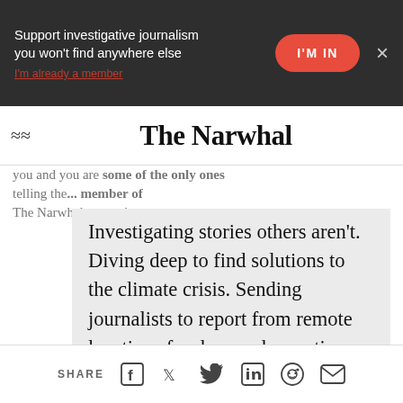Support investigative journalism you won't find anywhere else | I'M IN | I'm already a member | ×
The Narwhal
you and you are some of the only ones telling the ... member of The Narwhal, wrote in to say.
Investigating stories others aren't. Diving deep to find solutions to the climate crisis. Sending journalists to report from remote locations for days and sometimes weeks on end. These are the core tenets of what we do here at The Narwhal. It's also the kind of work that takes time and resources to
SHARE [Facebook] [Twitter] [LinkedIn] [Reddit] [Email]